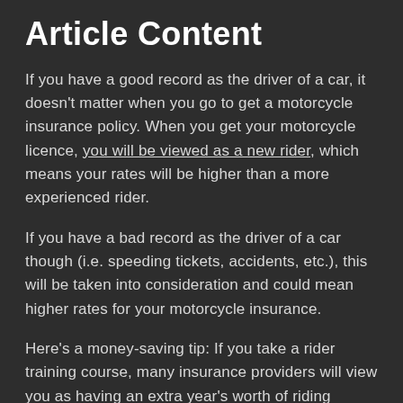Article Content
If you have a good record as the driver of a car, it doesn't matter when you go to get a motorcycle insurance policy. When you get your motorcycle licence, you will be viewed as a new rider, which means your rates will be higher than a more experienced rider.
If you have a bad record as the driver of a car though (i.e. speeding tickets, accidents, etc.), this will be taken into consideration and could mean higher rates for your motorcycle insurance.
Here's a money-saving tip: If you take a rider training course, many insurance providers will view you as having an extra year's worth of riding experience and